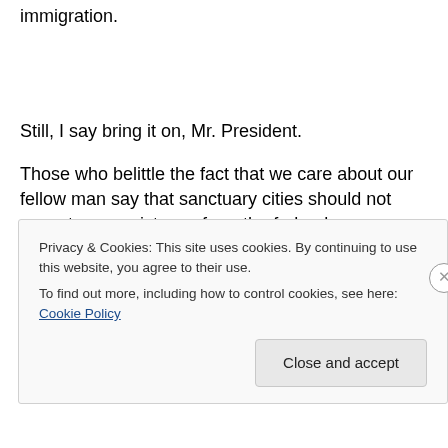immigration.
Still, I say bring it on, Mr. President.
Those who belittle the fact that we care about our fellow man say that sanctuary cities should not expect any assistance from the federal government as we help our newest neighbors to establish a new life in our communities.  Fine.  All we ask is that you grant asylum to
Privacy & Cookies: This site uses cookies. By continuing to use this website, you agree to their use.
To find out more, including how to control cookies, see here: Cookie Policy